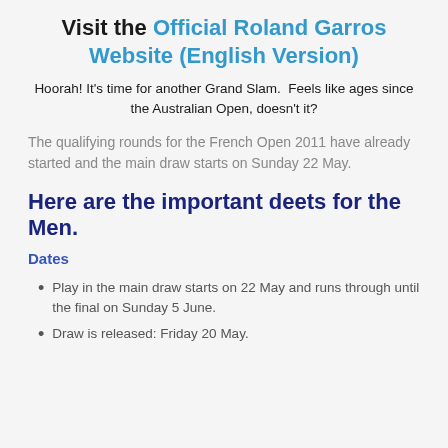Visit the Official Roland Garros Website (English Version)
Hoorah! It's time for another Grand Slam.  Feels like ages since the Australian Open, doesn't it?
The qualifying rounds for the French Open 2011 have already started and the main draw starts on Sunday 22 May.
Here are the important deets for the Men.
Dates
Play in the main draw starts on 22 May and runs through until the final on Sunday 5 June.
Draw is released: Friday 20 May.